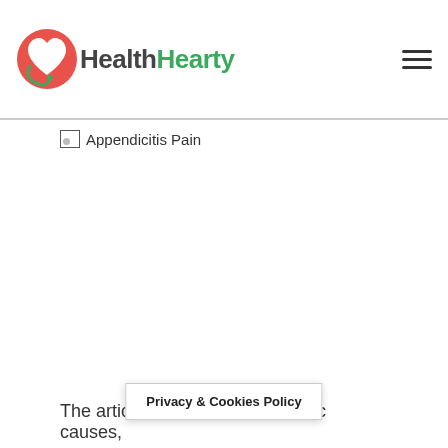HealthHearty
[Figure (illustration): Broken image placeholder labeled 'Appendicitis Pain']
[Figure (other): Privacy & Cookies Policy banner overlay]
The article ... of the basic causes,